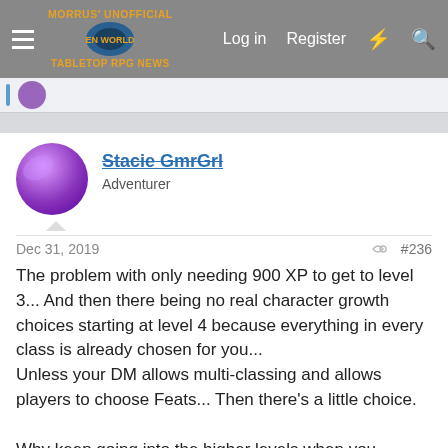Morrus' Unofficial Tabletop RPG News — Log in  Register
Stacie GmrGrl
Adventurer
Dec 31, 2019  #236
The problem with only needing 900 XP to get to level 3... And then there being no real character growth choices starting at level 4 because everything in every class is already chosen for you...
Unless your DM allows multi-classing and allows players to choose Feats... Then there's a little choice.

Why keep going into the higher levels when you honestly have no choices to make when your class is already dictated to you?